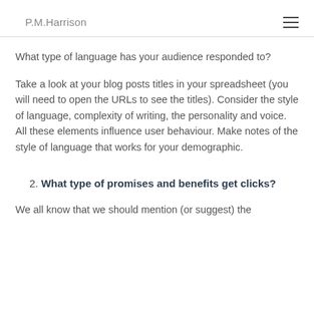P.M.Harrison
What type of language has your audience responded to?
Take a look at your blog posts titles in your spreadsheet (you will need to open the URLs to see the titles). Consider the style of language, complexity of writing, the personality and voice. All these elements influence user behaviour. Make notes of the style of language that works for your demographic.
2. What type of promises and benefits get clicks?
We all know that we should mention (or suggest) the